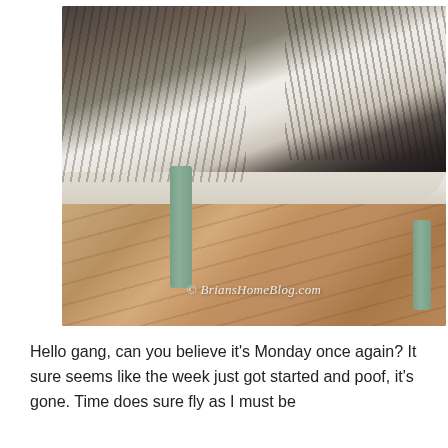[Figure (photo): A tabby cat lying on its back on a white fluffy bench/ottoman, showing its belly and paws. The cat has striped grey/brown fur. A sage green bench leg is visible, and there is a warm wood-tone floor below. A watermark reads '© BriansHomeBlog.com' in white italic text.]
Hello gang, can you believe it's Monday once again? It sure seems like the week just got started and poof, it's gone. Time does sure fly as I must be